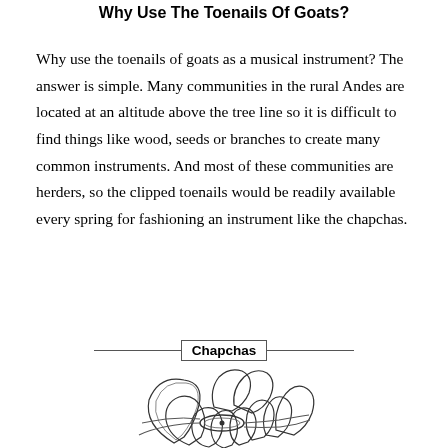Why Use The Toenails Of Goats?
Why use the toenails of goats as a musical instrument? The answer is simple. Many communities in the rural Andes are located at an altitude above the tree line so it is difficult to find things like wood, seeds or branches to create many common instruments. And most of these communities are herders, so the clipped toenails would be readily available every spring for fashioning an instrument like the chapchas.
Chapchas
[Figure (illustration): Line drawing illustration of a chapchas instrument made of goat toenails arranged in a bundle/rosette shape, showing individual curved nail pieces bound together.]